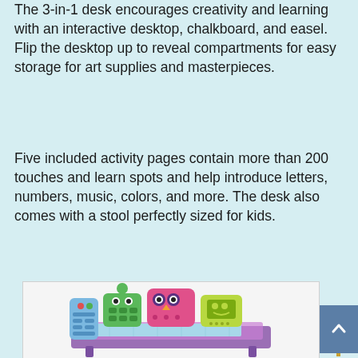The 3-in-1 desk encourages creativity and learning with an interactive desktop, chalkboard, and easel. Flip the desktop up to reveal compartments for easy storage for art supplies and masterpieces.
Five included activity pages contain more than 200 touches and learn spots and help introduce letters, numbers, music, colors, and more. The desk also comes with a stool perfectly sized for kids.
[Figure (photo): Photo of a colorful children's interactive learning desk toy (VTech style) with animal-shaped activity panels (owl, frog) and a touch-screen writing surface, shown in pink and purple.]